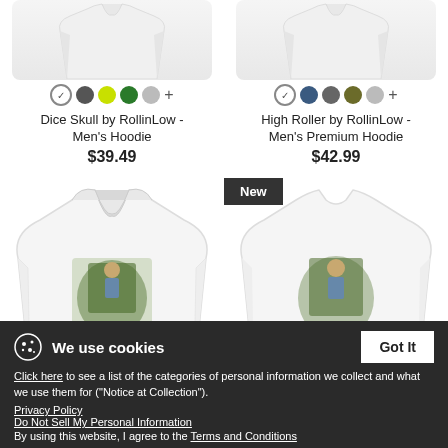[Figure (photo): White hoodie product image - Dice Skull by RollinLow]
[Figure (photo): White hoodie product image - High Roller by RollinLow Men's Premium Hoodie]
Dice Skull by RollinLow - Men's Hoodie
$39.49
High Roller by RollinLow - Men's Premium Hoodie
$42.99
[Figure (photo): White hoodie with High Roller graphic on front]
[Figure (photo): White hoodie with High Roller graphic on back, New badge]
New
High Roller by RollinLow - Men's Contrast Hoodie
$40.49
High Roller by RollinLow - Men's Hoodie
$39.49
We use cookies
Click here to see a list of the categories of personal information we collect and what we use them for ("Notice at Collection").
Privacy Policy
Do Not Sell My Personal Information
By using this website, I agree to the Terms and Conditions
Got It